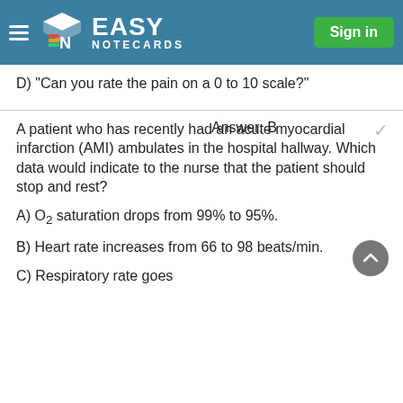EASY NOTECARDS | Sign in
D) "Can you rate the pain on a 0 to 10 scale?"
A patient who has recently had an acute myocardial infarction (AMI) ambulates in the hospital hallway. Which data would indicate to the nurse that the patient should stop and rest?
Answer: B
A) O2 saturation drops from 99% to 95%.
B) Heart rate increases from 66 to 98 beats/min.
C) Respiratory rate goes